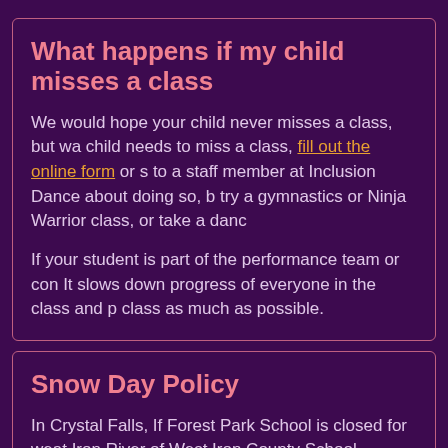What happens if my child misses a class
We would hope your child never misses a class, but wa... child needs to miss a class, fill out the online form or s... to a staff member at Inclusion Dance about doing so, b... try a gymnastics or Ninja Warrior class, or take a danc...
If your student is part of the performance team or con... It slows down progress of everyone in the class and p... class as much as possible.
Snow Day Policy
In Crystal Falls, If Forest Park School is closed for weat... Iron River of West Iron County School...